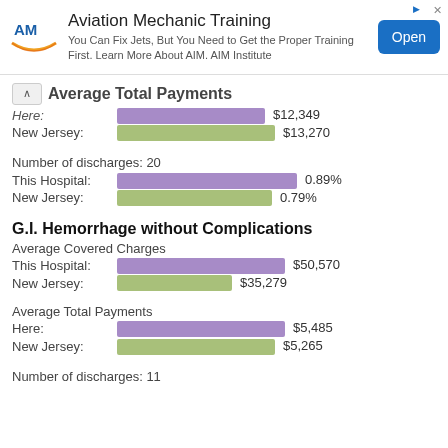[Figure (screenshot): Advertisement banner for Aviation Mechanic Training by AIM Institute. Shows AIM logo, text 'You Can Fix Jets, But You Need to Get the Proper Training First. Learn More About AIM. AIM Institute', and an 'Open' button.]
Average Total Payments
[Figure (bar-chart): Average Total Payments]
Number of discharges: 20
[Figure (bar-chart): Number of discharges]
G.I. Hemorrhage without Complications
Average Covered Charges
[Figure (bar-chart): Average Covered Charges]
Average Total Payments
[Figure (bar-chart): Average Total Payments]
Number of discharges: 11